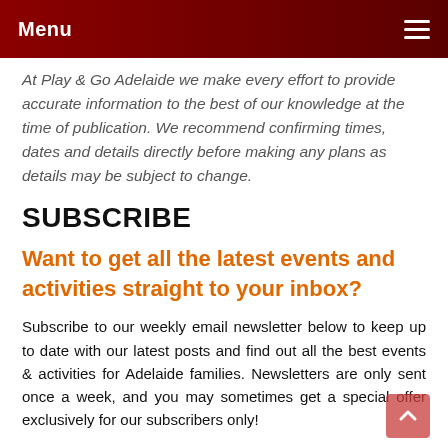Menu
At Play & Go Adelaide we make every effort to provide accurate information to the best of our knowledge at the time of publication. We recommend confirming times, dates and details directly before making any plans as details may be subject to change.
SUBSCRIBE
Want to get all the latest events and activities straight to your inbox?
Subscribe to our weekly email newsletter below to keep up to date with our latest posts and find out all the best events & activities for Adelaide families. Newsletters are only sent once a week, and you may sometimes get a special offer exclusively for our subscribers only!